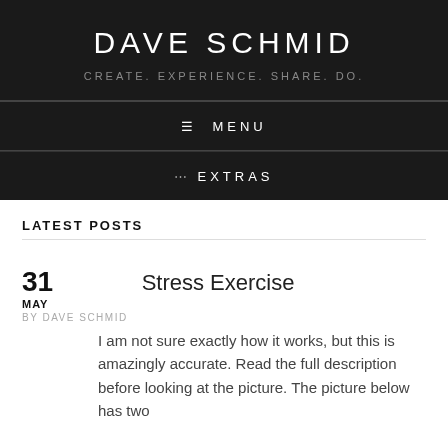DAVE SCHMID
CREATE. EXPERIENCE. SHARE. DO.
≡ MENU
··· EXTRAS
LATEST POSTS
31 MAY BY DAVE SCHMID
Stress Exercise
I am not sure exactly how it works, but this is amazingly accurate. Read the full description before looking at the picture. The picture below has two